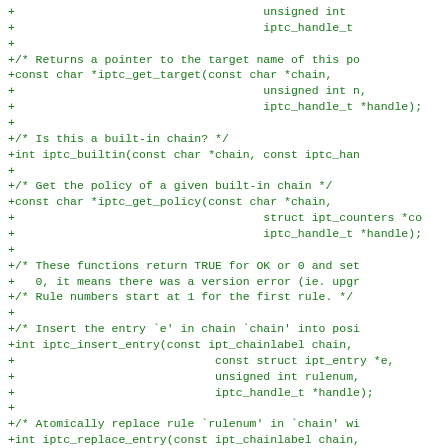[Figure (other): Source code diff/patch showing C function declarations for iptc library including iptc_get_target, iptc_builtin, iptc_get_policy, iptc_insert_entry, and iptc_replace_entry functions, displayed as green monospace text on white background]